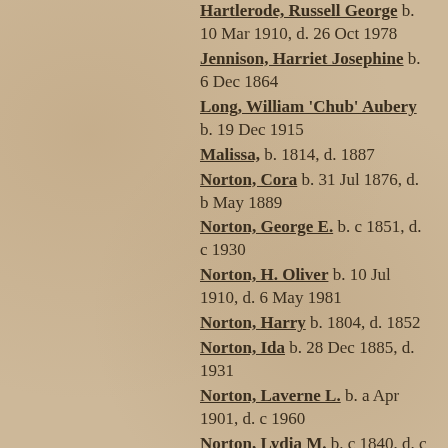Hartlerode, Russell George  b. 10 Mar 1910, d. 26 Oct 1978
Jennison, Harriet Josephine  b. 6 Dec 1864
Long, William 'Chub' Aubery  b. 19 Dec 1915
Malissa,  b. 1814, d. 1887
Norton, Cora  b. 31 Jul 1876, d. b May 1889
Norton, George E.  b. c 1851, d. c 1930
Norton, H. Oliver  b. 10 Jul 1910, d. 6 May 1981
Norton, Harry  b. 1804, d. 1852
Norton, Ida  b. 28 Dec 1885, d. 1931
Norton, Laverne L.  b. a Apr 1901, d. c 1960
Norton, Lydia M.  b. c 1840, d. c 1884
Norton, Mary  b. 26 Aug 1912, d. Dec 1982
Norton, Mary A.  b. c 1844
Parker, Alta Katherine  b. 4 May 1881, d. 1961
Parker, Stella Adell  b. 15 Dec 1871, d. 12 Jan 1960